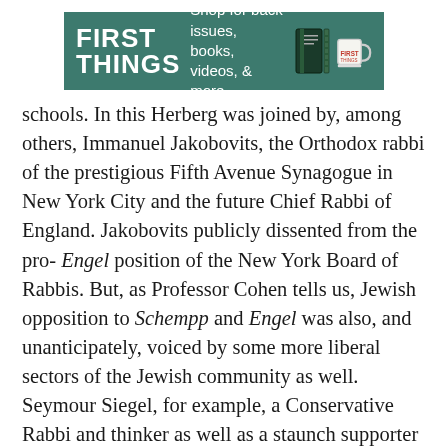[Figure (logo): First Things advertisement banner with teal/green background. Shows 'FIRST THINGS' in large white bold text on the left, 'Shop for back issues, books, videos, & more.' text in the center, and images of a book/binder and a mug on the right.]
schools. In this Herberg was joined by, among others, Immanuel Jakobovits, the Orthodox rabbi of the prestigious Fifth Avenue Synagogue in New York City and the future Chief Rabbi of England. Jakobovits publicly dissented from the pro- Engel position of the New York Board of Rabbis. But, as Professor Cohen tells us, Jewish opposition to Schempp and Engel was also, and unanticipately, voiced by some more liberal sectors of the Jewish community as well. Seymour Siegel, for example, a Conservative Rabbi and thinker as well as a staunch supporter of the Regents prayer and of state aid to Jewish and Catholic religious schools, attacked the defenders of the “nonexistent wall of separation of church and state” who “brainwashed” the Jewish